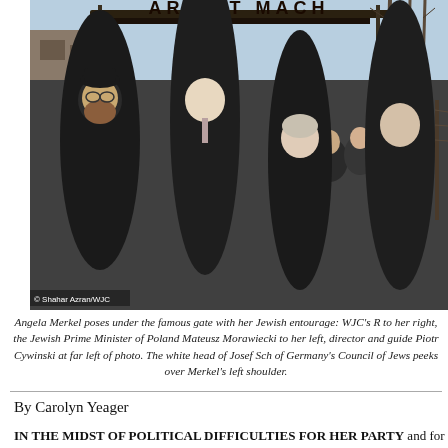[Figure (photo): Angela Merkel and entourage posing under the Arbeit Macht Frei gate at Auschwitz. Several people in dark coats standing in front of the gate. Photo credit: Shahar Azran/WJC]
Angela Merkel poses under the famous gate with her Jewish entourage: WJC's R... to her right, the Jewish Prime Minister of Poland Mateusz Morawiecki to her left, director and guide Piotr Cywinski at far left of photo. The white head of Josef Sch... of Germany's Council of Jews peeks over Merkel's left shoulder.
By Carolyn Yeager
IN THE MIDST OF POLITICAL DIFFICULTIES FOR HER PARTY and for her...